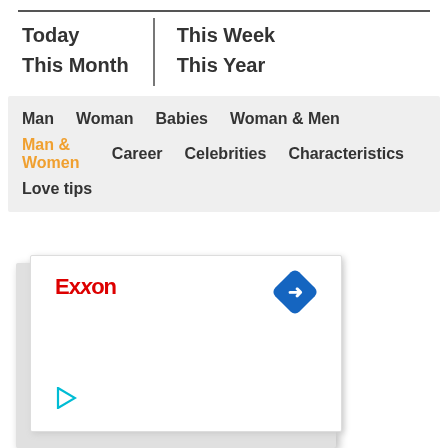Today
This Month
This Week
This Year
Man
Woman
Babies
Woman & Men
Man & Women
Career
Celebrities
Characteristics
Love tips
[Figure (screenshot): Advertisement box showing Exxon logo, a play button, and a blue diamond navigation arrow icon]